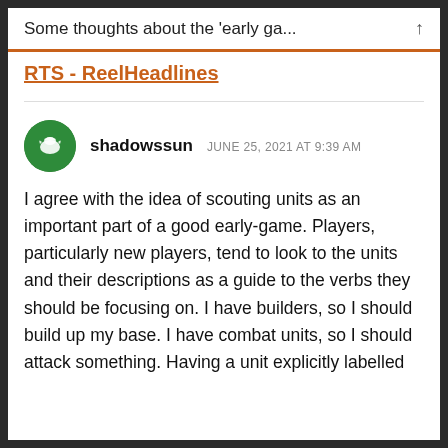Some thoughts about the 'early ga...
RTS - ReelHeadlines
shadowssun   JUNE 25, 2021 AT 9:39 AM
I agree with the idea of scouting units as an important part of a good early-game. Players, particularly new players, tend to look to the units and their descriptions as a guide to the verbs they should be focusing on. I have builders, so I should build up my base. I have combat units, so I should attack something. Having a unit explicitly labelled